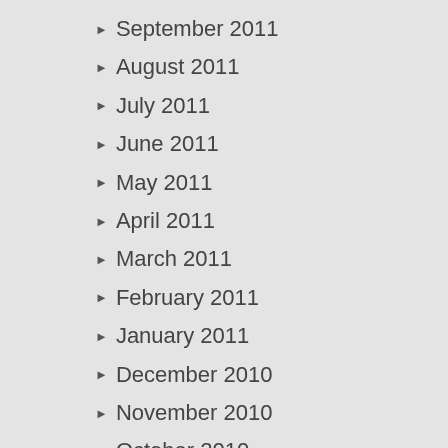September 2011
August 2011
July 2011
June 2011
May 2011
April 2011
March 2011
February 2011
January 2011
December 2010
November 2010
October 2010
September 2010